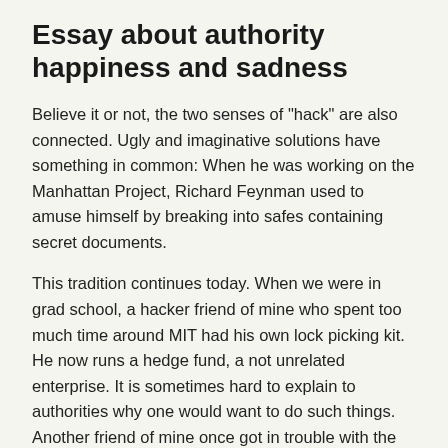Essay about authority happiness and sadness
Believe it or not, the two senses of "hack" are also connected. Ugly and imaginative solutions have something in common: When he was working on the Manhattan Project, Richard Feynman used to amuse himself by breaking into safes containing secret documents.
This tradition continues today. When we were in grad school, a hacker friend of mine who spent too much time around MIT had his own lock picking kit. He now runs a hedge fund, a not unrelated enterprise. It is sometimes hard to explain to authorities why one would want to do such things. Another friend of mine once got in trouble with the government for breaking into computers.
Below the cut is an excerpt about his success. The...